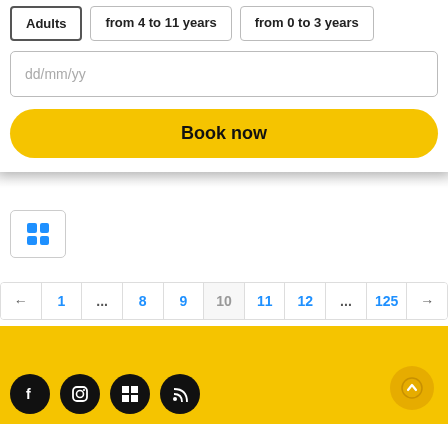Adults | from 4 to 11 years | from 0 to 3 years
dd/mm/yy
Book now
[Figure (screenshot): Grid/list view toggle button with blue 2x2 grid icon]
← 1 ... 8 9 10 11 12 ... 125 →
[Figure (screenshot): Yellow footer bar with social media icons (Facebook, Instagram, Windows, RSS) and a scroll-up button]